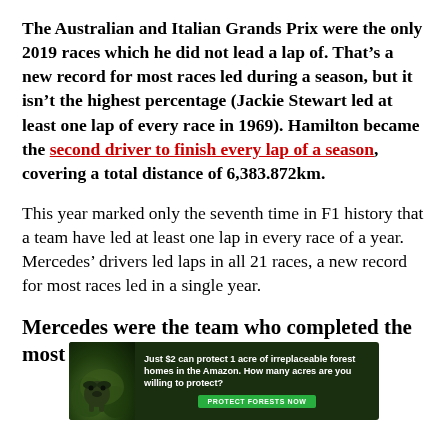The Australian and Italian Grands Prix were the only 2019 races which he did not lead a lap of. That’s a new record for most races led during a season, but it isn’t the highest percentage (Jackie Stewart led at least one lap of every race in 1969). Hamilton became the second driver to finish every lap of a season, covering a total distance of 6,383.872km.
This year marked only the seventh time in F1 history that a team have led at least one lap in every race of a year. Mercedes’ drivers led laps in all 21 races, a new record for most races led in a single year.
Mercedes were the team who completed the most
[Figure (infographic): Advertisement banner for Amazon forest protection: 'Just $2 can protect 1 acre of irreplaceable forest homes in the Amazon. How many acres are you willing to protect?' with a green PROTECT FORESTS NOW button and an image of a bear in a forest setting.]